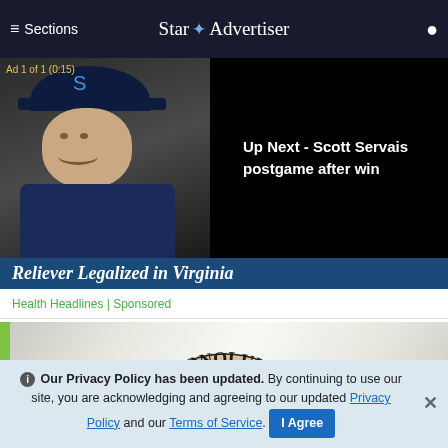≡ Sections | Star ✦ Advertiser
[Figure (screenshot): Video ad overlay showing a baseball coach in a Mariners hat on left panel and 'Up Next - Scott Servais postgame after win' text on black right panel. Ad 1 of 1 (0:15) badge shown.]
Reliever Legalized in Virginia
Health Headlines | Sponsored
[Figure (photo): Honolulu city seal/logo partially visible with radiating sun rays on a light grey gradient background. Green vertical bar on left edge.]
ℹ Our Privacy Policy has been updated. By continuing to use our site, you are acknowledging and agreeing to our updated Privacy Policy and our Terms of Service. I Agree